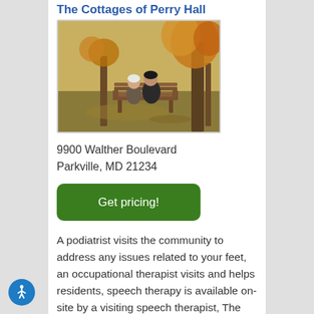The Cottages of Perry Hall
[Figure (photo): Two elderly people sitting on a wooden bench in a park with autumn trees in the background, viewed from behind.]
9900 Walther Boulevard
Parkville, MD 21234
Get pricing!
A podiatrist visits the community to address any issues related to your feet, an occupational therapist visits and helps residents, speech therapy is available on-site by a visiting speech therapist, The Cottages of Perry Hall can handle behavioral